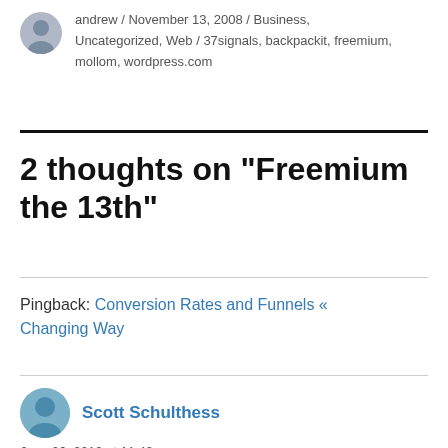andrew / November 13, 2008 / Business, Uncategorized, Web / 37signals, backpackit, freemium, mollom, wordpress.com
2 thoughts on “Freemium the 13th”
Pingback: Conversion Rates and Funnels « Changing Way
Scott Schulthess
June 26, 2010 at 11:40 am